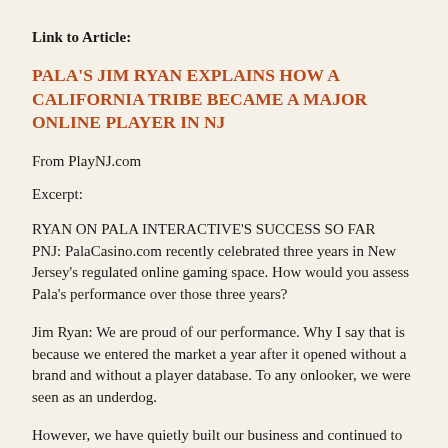Link to Article:
PALA'S JIM RYAN EXPLAINS HOW A CALIFORNIA TRIBE BECAME A MAJOR ONLINE PLAYER IN NJ
From PlayNJ.com
Excerpt:
RYAN ON PALA INTERACTIVE'S SUCCESS SO FAR
PNJ: PalaCasino.com recently celebrated three years in New Jersey's regulated online gaming space. How would you assess Pala's performance over those three years?
Jim Ryan: We are proud of our performance. Why I say that is because we entered the market a year after it opened without a brand and without a player database. To any onlooker, we were seen as an underdog.
However, we have quietly built our business and continued to improve our platform and add new games. We have been largely